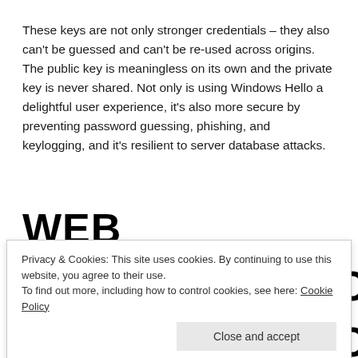These keys are not only stronger credentials – they also can't be guessed and can't be re-used across origins. The public key is meaningless on its own and the private key is never shared. Not only is using Windows Hello a delightful user experience, it's also more secure by preventing password guessing, phishing, and keylogging, and it's resilient to server database attacks.
WEB
AUTHENTICATION
Privacy & Cookies: This site uses cookies. By continuing to use this website, you agree to their use.
To find out more, including how to control cookies, see here: Cookie Policy